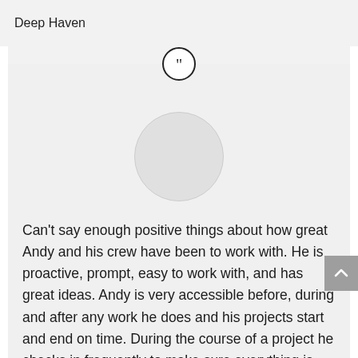Deep Haven
[Figure (illustration): Circular quote icon with closing double quotation marks, outlined circle style]
[Figure (illustration): Circular avatar placeholder, light gray circle with thin border]
Can't say enough positive things about how great Andy and his crew have been to work with. He is proactive, prompt, easy to work with, and has great ideas. Andy is very accessible before, during and after any work he does and his projects start and end on time. During the course of a project he checks in frequently to make sure everything is going as planned and will be out at the site at least once each day. He